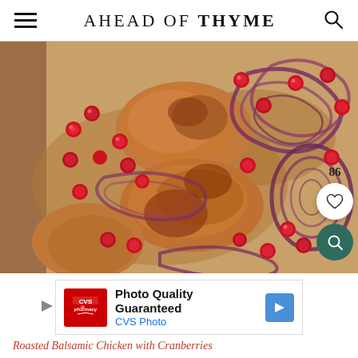AHEAD OF THYME
[Figure (photo): Overhead shot of roasted balsamic chicken thighs with cranberries and sliced red onions on a baking sheet pan, showing golden-browned chicken surrounded by bright red cranberries and caramelized purple-red onion slices]
[Figure (infographic): CVS Pharmacy ad banner: Photo Quality Guaranteed - CVS Photo, with red CVS logo and blue arrow icon]
Roasted Balsamic Chicken with Cranberries